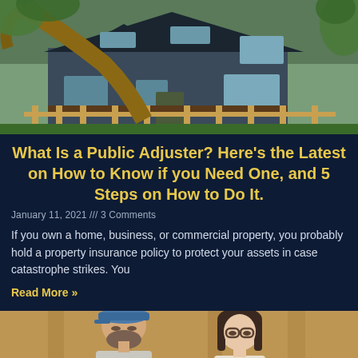[Figure (photo): A house with a large fallen tree resting against it, with storm damage visible. Blue/grey house with a porch and wooden fence in front, surrounded by green trees.]
What Is a Public Adjuster? Here’s the Latest on How to Know if you Need One, and 5 Steps on How to Do It.
January 11, 2021 /// 3 Comments
If you own a home, business, or commercial property, you probably hold a property insurance policy to protect your assets in case catastrophe strikes. You
Read More »
[Figure (photo): Two people, a man with a beard wearing a blue cap and a woman with glasses, looking downward, outdoors with a wooden structure behind them.]